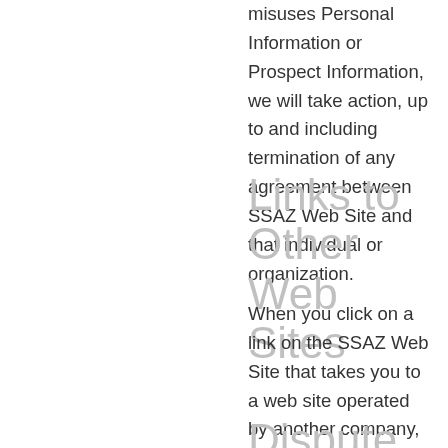misuses Personal Information or Prospect Information, we will take action, up to and including termination of any agreement between SSAZ Web Site and that individual or organization.
Links to Other Web Sites
When you click on a link on the SSAZ Web Site that takes you to a web site operated by another company, you will be subject to that company's web site privacy policies.
Dispute Resolution